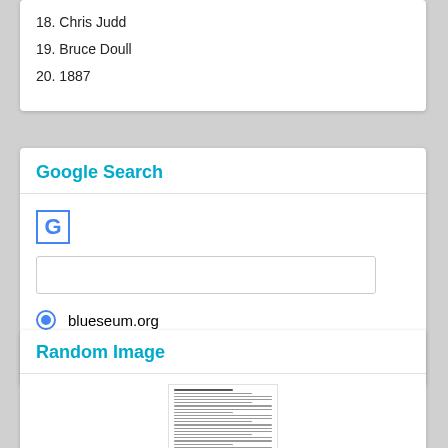18. Chris Judd
19. Bruce Doull
20. 1887
Google Search
[Figure (logo): Google G logo in blue border box]
[Figure (screenshot): Search input text box]
blueseum.org (radio button selected)
WWW (radio button unselected)
Random Image
[Figure (photo): Thumbnail of a document page with text content]